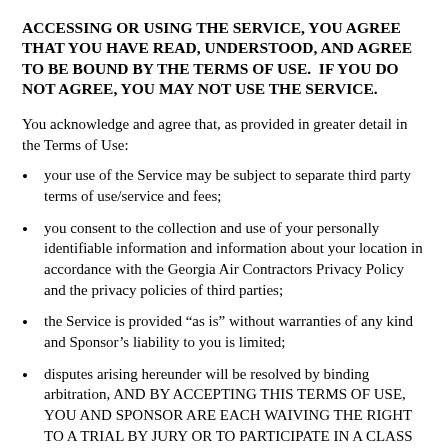ACCESSING OR USING THE SERVICE, YOU AGREE THAT YOU HAVE READ, UNDERSTOOD, AND AGREE TO BE BOUND BY THE TERMS OF USE.  IF YOU DO NOT AGREE, YOU MAY NOT USE THE SERVICE.
You acknowledge and agree that, as provided in greater detail in the Terms of Use:
your use of the Service may be subject to separate third party terms of use/service and fees;
you consent to the collection and use of your personally identifiable information and information about your location in accordance with the Georgia Air Contractors Privacy Policy and the privacy policies of third parties;
the Service is provided “as is” without warranties of any kind and Sponsor’s liability to you is limited;
disputes arising hereunder will be resolved by binding arbitration, AND BY ACCEPTING THIS TERMS OF USE, YOU AND SPONSOR ARE EACH WAIVING THE RIGHT TO A TRIAL BY JURY OR TO PARTICIPATE IN A CLASS ACTION.  YOU AGREE TO GIVE UP YOUR RIGHT TO GO TO COURT to assert or defend your rights under this agreement from us that you about to